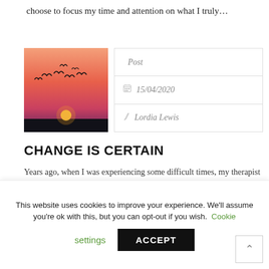choose to focus my time and attention on what I truly…
[Figure (photo): Silhouette of birds flying against a sunset sky with a red/orange gradient and a sun near the horizon]
| Post |
| 15/04/2020 |
| Lordia Lewis |
CHANGE IS CERTAIN
Years ago, when I was experiencing some difficult times, my therapist told me, "Just remember, nothing ever stays the same. This too shall pass." Her words really helped me at the time as
This website uses cookies to improve your experience. We'll assume you're ok with this, but you can opt-out if you wish. Cookie settings ACCEPT